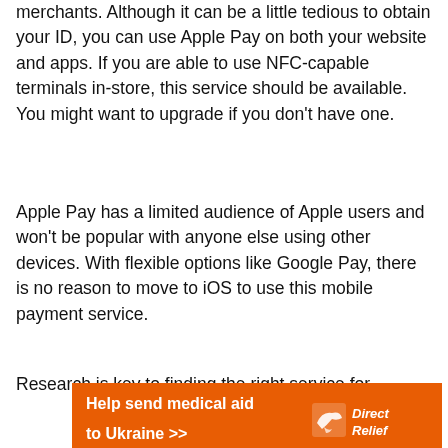merchants. Although it can be a little tedious to obtain your ID, you can use Apple Pay on both your website and apps. If you are able to use NFC-capable terminals in-store, this service should be available. You might want to upgrade if you don't have one.
Apple Pay has a limited audience of Apple users and won't be popular with anyone else using other devices. With flexible options like Google Pay, there is no reason to move to iOS to use this mobile payment service.
Research is key to finding the right service for
[Figure (infographic): Orange advertisement banner for Direct Relief: 'Help send medical aid to Ukraine >>' with Direct Relief logo on the right]